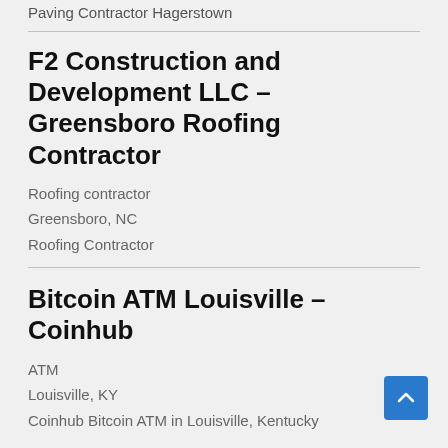Paving Contractor Hagerstown
F2 Construction and Development LLC – Greensboro Roofing Contractor
Roofing contractor
Greensboro, NC
Roofing Contractor
Bitcoin ATM Louisville – Coinhub
ATM
Louisville, KY
Coinhub Bitcoin ATM in Louisville, Kentucky